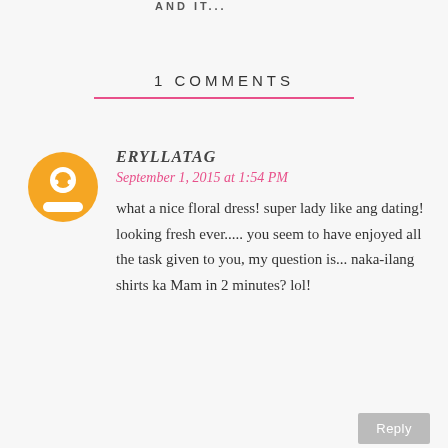AND IT...
1 COMMENTS
ERYLLATAG
September 1, 2015 at 1:54 PM
what a nice floral dress! super lady like ang dating! looking fresh ever..... you seem to have enjoyed all the task given to you, my question is... naka-ilang shirts ka Mam in 2 minutes? lol!
Reply